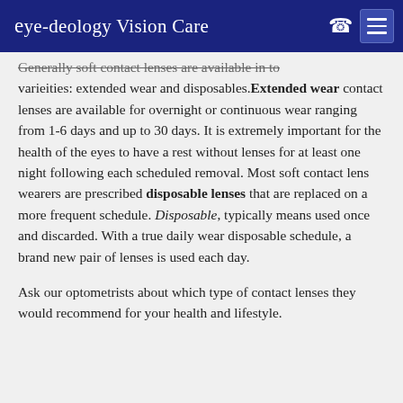eye-deology Vision Care
Generally soft contact lenses are available in to varieities: extended wear and disposables. Extended wear contact lenses are available for overnight or continuous wear ranging from 1-6 days and up to 30 days. It is extremely important for the health of the eyes to have a rest without lenses for at least one night following each scheduled removal. Most soft contact lens wearers are prescribed disposable lenses that are replaced on a more frequent schedule. Disposable, typically means used once and discarded. With a true daily wear disposable schedule, a brand new pair of lenses is used each day.
Ask our optometrists about which type of contact lenses they would recommend for your health and lifestyle.